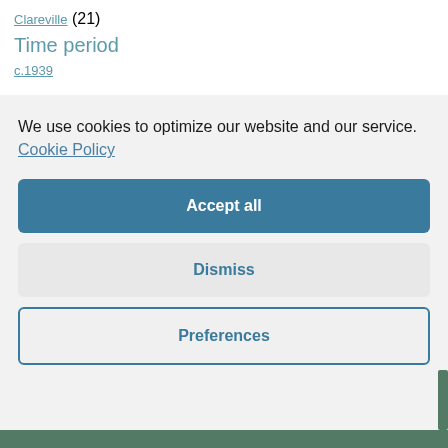Clareville (21)
Time period
c.1939
We use cookies to optimize our website and our service.  Cookie Policy
Accept all
Dismiss
Preferences